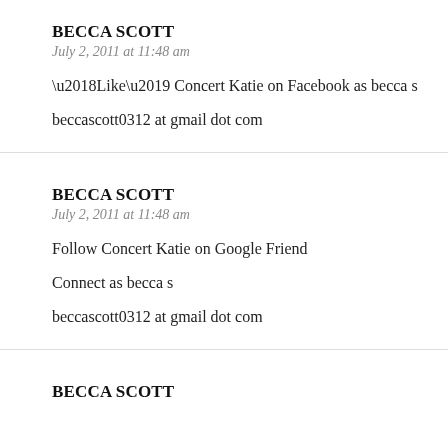BECCA SCOTT
July 2, 2011 at 11:48 am
‘Like’ Concert Katie on Facebook as becca s

beccascott0312 at gmail dot com
BECCA SCOTT
July 2, 2011 at 11:48 am
Follow Concert Katie on Google Friend

Connect as becca s

beccascott0312 at gmail dot com
BECCA SCOTT